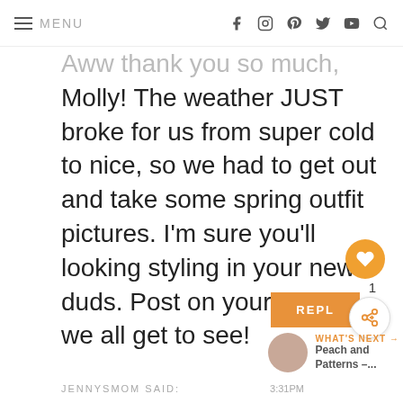MENU
Aww thank you so much, Molly! The weather JUST broke for us from super cold to nice, so we had to get out and take some spring outfit pictures. I'm sure you'll looking styling in your new duds. Post on your blog so we all get to see!
REPLY
JENNYSMOM SAID: